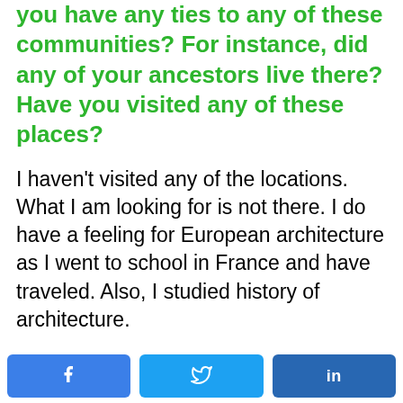you have any ties to any of these communities? For instance, did any of your ancestors live there? Have you visited any of these places?
I haven't visited any of the locations. What I am looking for is not there. I do have a feeling for European architecture as I went to school in France and have traveled. Also, I studied history of architecture.
My mother's family is from Grodzisk, a suburb of Warsaw. I recently obtained a picture of the wooden synagogue in Grodzisk. Grodzisk was
[Figure (other): Social sharing buttons row: Facebook (blue), Twitter (light blue), LinkedIn (dark blue)]